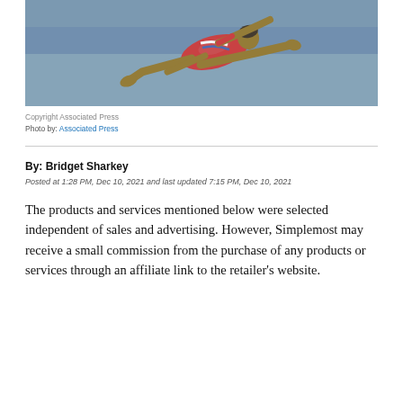[Figure (photo): A gymnast in a red, white and blue leotard performing a flying/leaping move, photographed mid-air against a blurred arena background with blue seats.]
Copyright Associated Press
Photo by: Associated Press
By: Bridget Sharkey
Posted at 1:28 PM, Dec 10, 2021 and last updated 7:15 PM, Dec 10, 2021
The products and services mentioned below were selected independent of sales and advertising. However, Simplemost may receive a small commission from the purchase of any products or services through an affiliate link to the retailer's website.